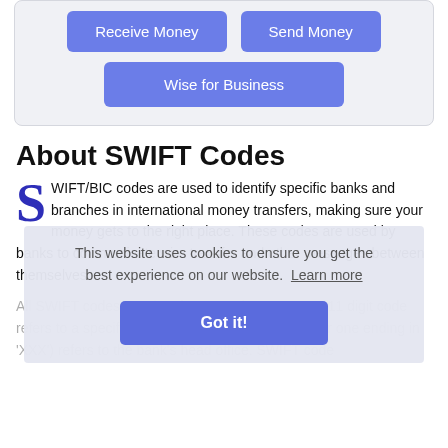[Figure (screenshot): UI card with three buttons: 'Receive Money', 'Send Money', and 'Wise for Business' on a light grey background]
About SWIFT Codes
SWIFT/BIC codes are used to identify specific banks and branches in international money transfers, making sure your money gets to the right place. These codes are used by banks to...
All SWIFT codes consist of 8 or 11 characters. An 11 digit code refers to a specific branch, while an 8 digit code (or one ending in 'XXX') refers to the bank's head office. SWIFT code registration is handled by the Society for World Interbank...
This website uses cookies to ensure you get the best experience on our website.  Learn more
Got it!